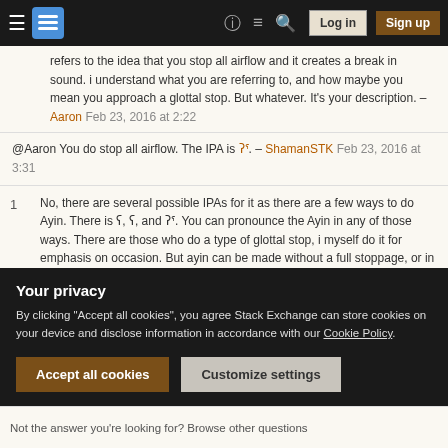Stack Exchange navigation bar with hamburger menu, logo, help, chat, search icons, Log in and Sign up buttons
refers to the idea that you stop all airflow and it creates a break in sound. i understand what you are referring to, and how maybe you mean you approach a glottal stop. But whatever. It's your description. – Aaron Feb 23, 2016 at 2:22
@Aaron You do stop all airflow. The IPA is ʔˤ. – ShamanSTK Feb 23, 2016 at 3:31
1  No, there are several possible IPAs for it as there are a few ways to do Ayin. There is ʕ, ʕ, and ʔˤ. You can pronounce the Ayin in any of those ways. There are those who do a type of glottal stop, i myself do it for emphasis on occasion. But ayin can be made without a full stoppage, or in other words, a voiced pharyngeal approximant or fricative. – Aaron Feb
Your privacy
By clicking "Accept all cookies", you agree Stack Exchange can store cookies on your device and disclose information in accordance with our Cookie Policy.
Accept all cookies    Customize settings
Not the answer you're looking for? Browse other questions